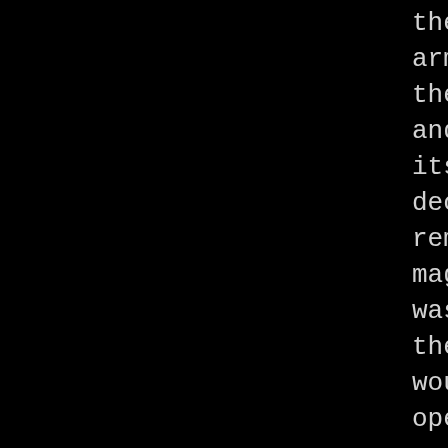there was an army to protect the entrance and the city itself, so the decision to remove the magical lock was made and the doors would be opened once again when it was. With this decision, the Guild Masters began to rebuild the knowledge of magic and combat with only the personal experience they had